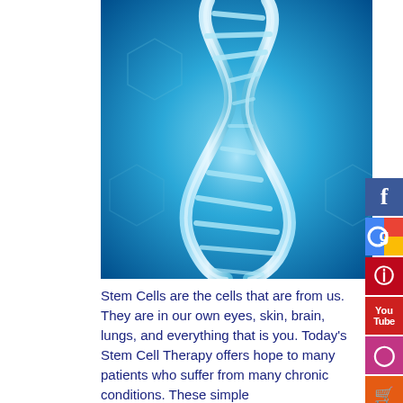[Figure (illustration): Illustration of a DNA double helix in shades of blue and cyan on a blue hexagonal background]
Stem Cells are the cells that are from us. They are in our own eyes, skin, brain, lungs, and everything that is you. Today's Stem Cell Therapy offers hope to many patients who suffer from many chronic conditions. These simple...